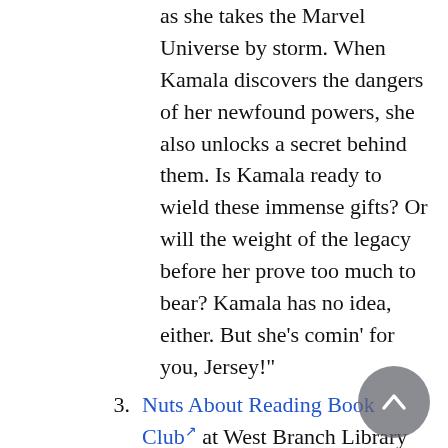as she takes the Marvel Universe by storm. When Kamala discovers the dangers of her newfound powers, she also unlocks a secret behind them. Is Kamala ready to wield these immense gifts? Or will the weight of the legacy before her prove too much to bear? Kamala has no idea, either. But she's comin' for you, Jersey!"
3. Nuts About Reading Book Club at West Branch Library (Third Tuesdays)
January's pick: Before the Coffee Gets Cold, by Toshikazu Kawaguchi
In a small back alley in Tokyo, there is a café which has been serving carefully brewed coffee for more than one hundred years. But this coffee shop offers its customers a unique experience: the chance to travel back in time. In Before the Coffee Gets Cold, we meet four visitors, each of whom is hoping to make use of